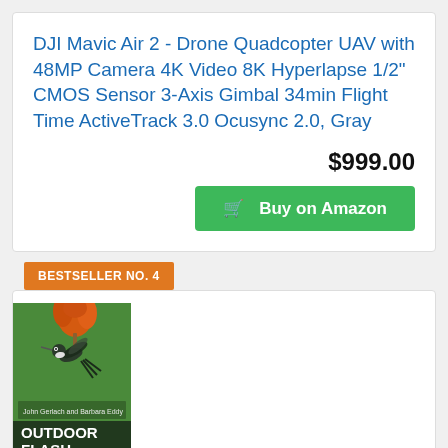DJI Mavic Air 2 - Drone Quadcopter UAV with 48MP Camera 4K Video 8K Hyperlapse 1/2" CMOS Sensor 3-Axis Gimbal 34min Flight Time ActiveTrack 3.0 Ocusync 2.0, Gray
$999.00
Buy on Amazon
BESTSELLER NO. 4
[Figure (photo): Book cover of 'Outdoor Flash' by John Gerlach and Barbara Eddy, showing a hummingbird feeding from an orange flower against a green background]